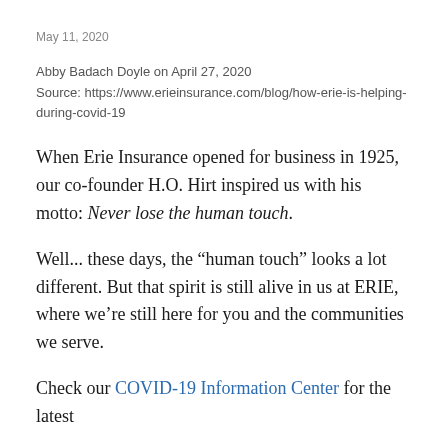May 11, 2020
Abby Badach Doyle on April 27, 2020
Source: https://www.erieinsurance.com/blog/how-erie-is-helping-during-covid-19
When Erie Insurance opened for business in 1925, our co-founder H.O. Hirt inspired us with his motto: Never lose the human touch.
Well... these days, the “human touch” looks a lot different. But that spirit is still alive in us at ERIE, where we’re still here for you and the communities we serve.
Check our COVID-19 Information Center for the latest